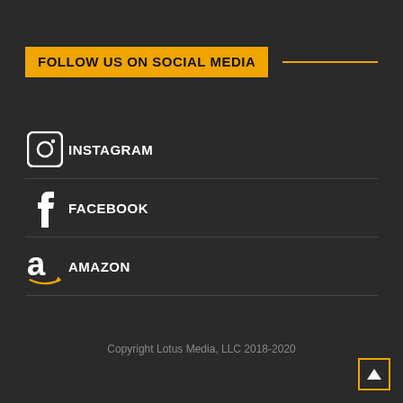FOLLOW US ON SOCIAL MEDIA
INSTAGRAM
FACEBOOK
AMAZON
Copyright Lotus Media, LLC 2018-2020